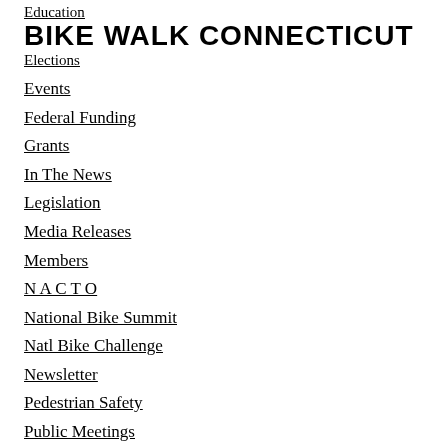Education
BIKE WALK CONNECTICUT
Elections
Events
Federal Funding
Grants
In The News
Legislation
Media Releases
Members
N A C T O
National Bike Summit
Natl Bike Challenge
Newsletter
Pedestrian Safety
Public Meetings
Share The Road
State Funding
Summit
TBD